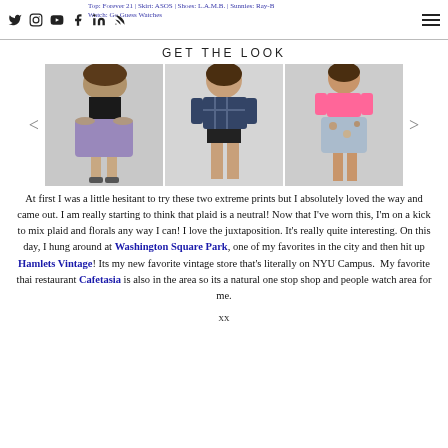Top: Forever 21 | Skirt: ASOS | Shoes: L.A.M.B. | Sunnies: Ray-Ban | Watch: Go Guess Watches
GET THE LOOK
[Figure (photo): Three fashion outfit photos showing models wearing plaid and floral combinations]
At first I was a little hesitant to try these two extreme prints but I absolutely loved the way and came out. I am really starting to think that plaid is a neutral! Now that I’ve worn this, I’m on a kick to mix plaid and florals any way I can! I love the juxtaposition. It’s really quite interesting. On this day, I hung around at Washington Square Park, one of my favorites in the city and then hit up Hamlets Vintage! Its my new favorite vintage store that’s literally on NYU Campus. My favorite thai restaurant Cafetasia is also in the area so its a natural one stop shop and people watch area for me.
xx